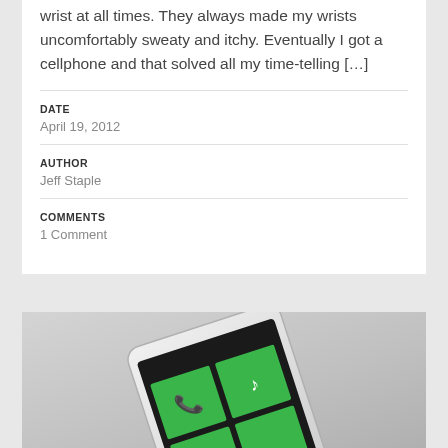wrist at all times. They always made my wrists uncomfortably sweaty and itchy. Eventually I got a cellphone and that solved all my time-telling […]
DATE
April 19, 2012
AUTHOR
Jeff Staple
COMMENTS
1 Comment
[Figure (photo): A smartphone (Windows Phone) with a black screen showing green tiles, lying at an angle on a light gray surface]